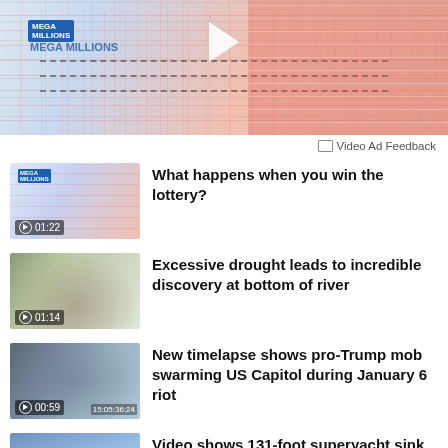[Figure (photo): Close-up of a lottery ticket (Mega Millions) with a play button overlay at top, pink/red grid of numbers visible]
Video Ad Feedback
What happens when you win the lottery?
01:22
Excessive drought leads to incredible discovery at bottom of river
01:14
New timelapse shows pro-Trump mob swarming US Capitol during January 6 riot
00:59
Video shows 131-foot superyacht sink in Mediterranean Sea
00:49